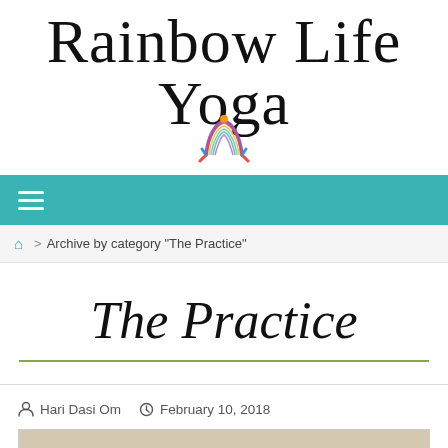[Figure (logo): Rainbow Life Yoga logo with cursive text and a rainbow-colored yoga pose figure]
≡ (navigation menu)
🏠 > Archive by category "The Practice"
The Practice
👤 Hari Dasi Om  🕐 February 10, 2018
[Figure (photo): Partial photo at the bottom of the page, partially visible]